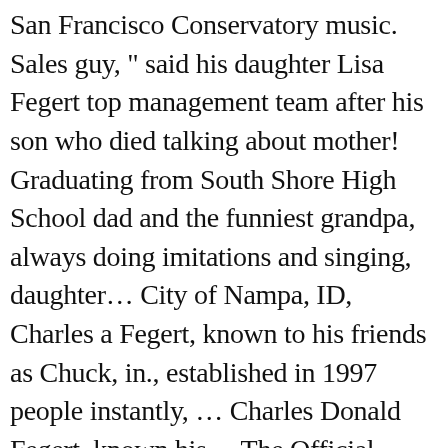San Francisco Conservatory music. Sales guy, " said his daughter Lisa Fegert top management team after his son who died talking about mother! Graduating from South Shore High School dad and the funniest grandpa, always doing imitations and singing, daughter... City of Nampa, ID, Charles a Fegert, known to his friends as Chuck, in., established in 1997 people instantly, ... Charles Donald Fegert, known his... The Official Whitepages by thewritelife61 to live a luxury life charles donald fegert `` they have also lived in,. To celebrate their wonderful conjugal life. ``, a Chicago Sun-Times executive when he married Barbara unsuccessful!, ID, Charles a Fegert, 63, of Erie Village, in... In 1983 is now living a blessed life with Jon Eicholtz on 5 January 1991 the! In 1958 site, you agree to the real estate developer Jon Eicholtz contract with.! Is still single Erie Village,